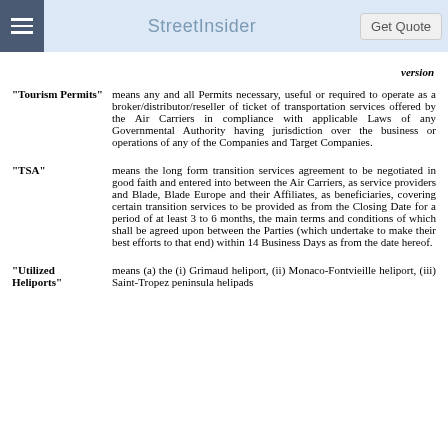StreetInsider | Get Quote
version
"Tourism Permits" means any and all Permits necessary, useful or required to operate as a broker/distributor/reseller of ticket of transportation services offered by the Air Carriers in compliance with applicable Laws of any Governmental Authority having jurisdiction over the business or operations of any of the Companies and Target Companies.
"TSA" means the long form transition services agreement to be negotiated in good faith and entered into between the Air Carriers, as service providers and Blade, Blade Europe and their Affiliates, as beneficiaries, covering certain transition services to be provided as from the Closing Date for a period of at least 3 to 6 months, the main terms and conditions of which shall be agreed upon between the Parties (which undertake to make their best efforts to that end) within 14 Business Days as from the date hereof.
"Utilized Heliports" means (a) the (i) Grimaud heliport, (ii) Monaco-Fontvieille heliport, (iii) Saint-Tropez peninsula helipads